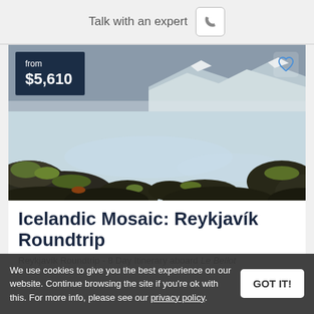Talk with an expert
[Figure (photo): Icelandic landscape with milky blue geothermal water, moss-covered black lava rocks, and snow-capped mountains in the background under a grey sky. Price badge shows 'from $5,610' in dark navy overlay top-left. Heart/favorite icon top-right.]
Icelandic Mosaic: Reykjavík Roundtrip
Reykjavík Roundtrip - 8 Day Itinerary aboard Le Bellot
We use cookies to give you the best experience on our website. Continue browsing the site if you're ok with this. For more info, please see our privacy policy.